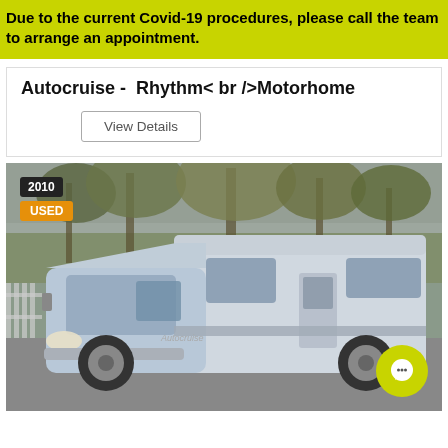Due to the current Covid-19 procedures, please call the team to arrange an appointment.
Autocruise -  Rhythm< br />Motorhome
View Details
[Figure (photo): A 2010 used Autocruise Rhythm motorhome, silver/light blue Fiat Ducato base, photographed in a car park with trees in background. Badges: 2010 and USED overlaid top-left. Green chat button bottom-right.]